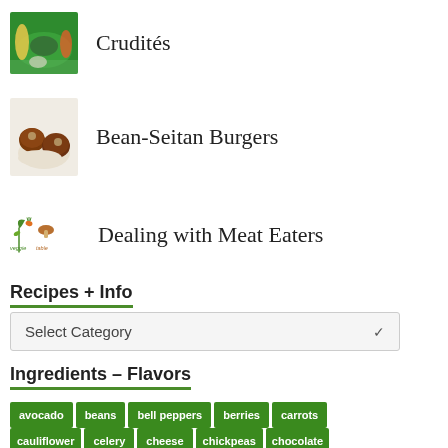Crudités
Bean-Seitan Burgers
Dealing with Meat Eaters
Recipes + Info
Select Category
Ingredients – Flavors
avocado
beans
bell peppers
berries
carrots
cauliflower
celery
cheese
chickpeas
chocolate